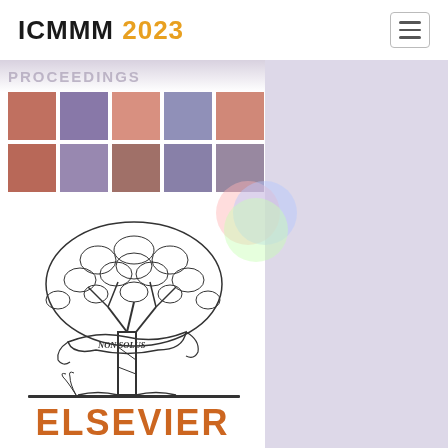ICMMM 2023
[Figure (logo): Elsevier logo: grid of microscopy/materials science images, Elsevier tree illustration, and ELSEVIER text in orange]
[Figure (illustration): Colorful translucent circle overlay (RGB color blending circles) positioned over lower-right of image grid]